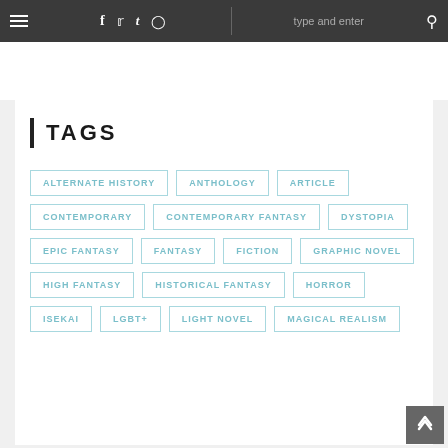Navigation bar with menu, social icons (f, t, tumblr, instagram), search box 'type and enter', and search icon
TAGS
ALTERNATE HISTORY
ANTHOLOGY
ARTICLE
CONTEMPORARY
CONTEMPORARY FANTASY
DYSTOPIA
EPIC FANTASY
FANTASY
FICTION
GRAPHIC NOVEL
HIGH FANTASY
HISTORICAL FANTASY
HORROR
ISEKAI
LGBT+
LIGHT NOVEL
MAGICAL REALISM